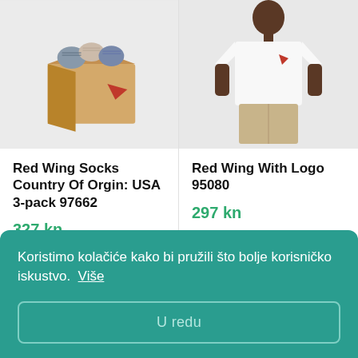[Figure (photo): Red Wing socks product photo: cardboard box with colorful socks inside, branded with Red Wing logo]
Red Wing Socks Country Of Orgin: USA 3-pack 97662
327 kn
43...
1 p...
[Figure (photo): Red Wing t-shirt product photo: young man wearing white t-shirt with Red Wing logo, khaki shorts]
Red Wing With Logo 95080
297 kn
Koristimo kolačiće kako bi pružili što bolje korisničko iskustvo.  Više
U redu